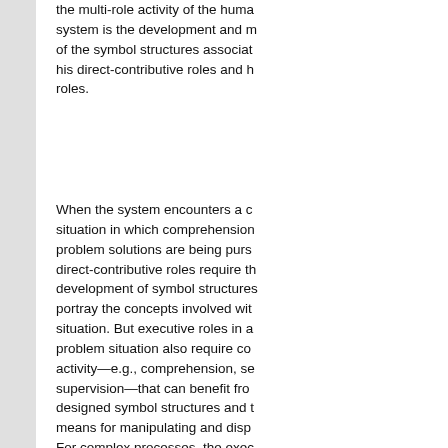the multi-role activity of the human system is the development and maintenance of the symbol structures associated with his direct-contributive roles and his other roles.
When the system encounters a complex situation in which comprehension and problem solutions are being pursued, direct-contributive roles require the development of symbol structures that portray the concepts involved with the situation. But executive roles in a problem situation also require co- activity—e.g., comprehension, search, supervision—that can benefit from designed symbol structures and better means for manipulating and displaying. For complex processes, the executive problem posed to the human (of gaining necessary comprehension and making a good plan) may be tougher than those he faced in the role of direct-contributive worker. If the flexibility desired for process hierarchies (to make room for human cut-and-try methods) is not degraded or abandoned, the executive